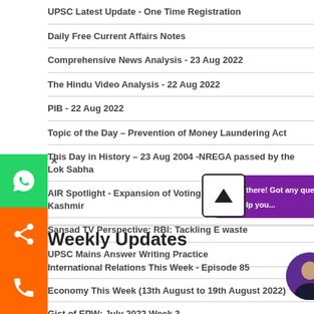UPSC Latest Update - One Time Registration
Daily Free Current Affairs Notes
Comprehensive News Analysis - 23 Aug 2022
The Hindu Video Analysis - 22 Aug 2022
PIB - 22 Aug 2022
Topic of the Day – Prevention of Money Laundering Act
This Day in History – 23 Aug 2004 -NREGA passed by the Lok Sabha
AIR Spotlight - Expansion of Voting Rights in Jammu and Kashmir
Sansad TV Perspective: RBI: Tackling E waste
UPSC Mains Answer Writing Practice
Weekly Updates
International Relations This Week - Episode 85
Economy This Week (13th August to 19th August 2022)
Gist of EPW: July 2022 Week 3
Weekly GK and Current Affairs Quiz Aug 20 – Aug 26